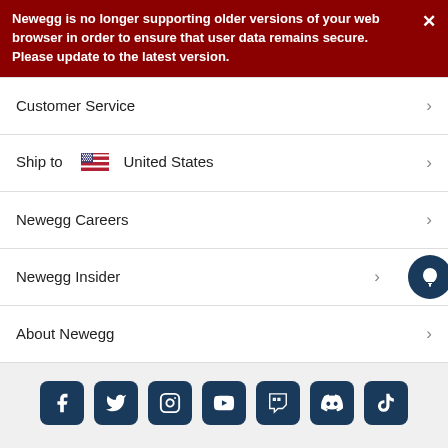Newegg is no longer supporting older versions of your web browser in order to ensure that user data remains secure. Please update to the latest version.
Customer Service
Ship to  United States
Newegg Careers
Newegg Insider
About Newegg
[Figure (other): Social media icons: Facebook, Twitter, Instagram, YouTube, Twitch, Discord, TikTok]
Desktop Site   Privacy Policy   Policy & Agreement
© 2000-2022 Newegg Inc. All rights reserved.